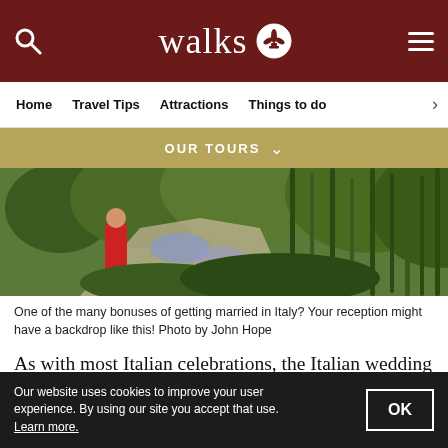walks
Home  Travel Tips  Attractions  Things to do
OUR TOURS
[Figure (photo): Garden path with person in red dress, surrounded by lush green plants and flowers]
One of the many bonuses of getting married in Italy? Your reception might have a backdrop like this! Photo by John Hope
As with most Italian celebrations, the Italian wedding is completely centered around food and guests can be sure to leave filled to the brim! It’s customary for the bridal party to wait before arriving at the reception hall, giving them time to refresh and relax
Our website uses cookies to improve your user experience. By using our site you accept that use. Learn more.